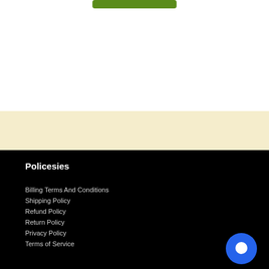[Figure (other): Green button/banner at top of page]
Policesies
Billing Terms And Conditions
Shipping Policy
Refund Policy
Return Policy
Privacy Policy
Terms of Service